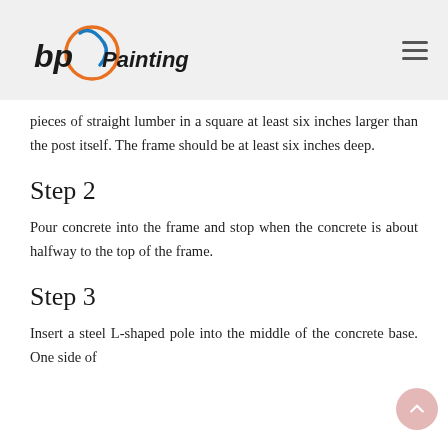bp Painting
pieces of straight lumber in a square at least six inches larger than the post itself. The frame should be at least six inches deep.
Step 2
Pour concrete into the frame and stop when the concrete is about halfway to the top of the frame.
Step 3
Insert a steel L-shaped pole into the middle of the concrete base. One side of